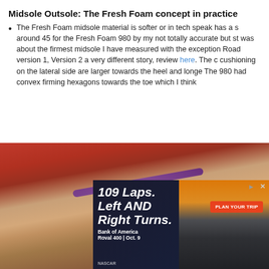Midsole Outsole: The Fresh Foam concept in practice
The Fresh Foam midsole material is softer or in tech speak has a s around 45 for the Fresh Foam 980 by my not totally accurate but st was about the firmest midsole I have measured with the exception Road version 1, Version 2 a very different story, review here. The c cushioning on the lateral side are larger towards the heel and longe The 980 had convex firming hexagons towards the toe which I think
[Figure (photo): Close-up photo of a person's foot/ankle pressing down on the outsole of a running shoe. The shoe has a white midsole and orange/red outsole with hexagonal pattern. The foot appears to be testing the firmness of the midsole.]
[Figure (infographic): Advertisement banner for Bank of America Roval 400 NASCAR race on Oct. 9. Shows text '109 Laps. Left AND Right Turns.' with a 'PLAN YOUR TRIP' button and NASCAR race cars imagery.]